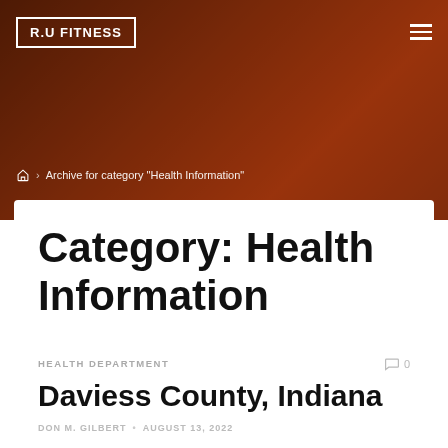R.U FITNESS
Archive for category "Health Information"
Category: Health Information
HEALTH DEPARTMENT
0 comments
Daviess County, Indiana
DON M. GILBERT • AUGUST 13, 2022